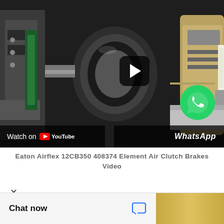[Figure (screenshot): YouTube video thumbnail of industrial machinery - Eaton Airflex clutch brakes. Shows metal mechanical components, a play button overlay, WhatsApp icon overlay, 'Watch on YouTube' bar at bottom left, and 'WhatsApp' text at bottom right.]
Eaton Airflex 12CB350 408374 Element Air Clutch Brakes Video
×
Hello, how may I help you?
Chat now